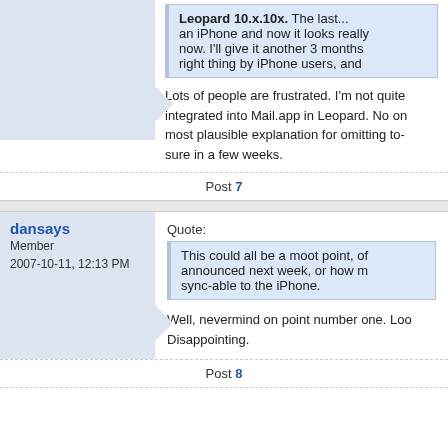Leopard 10.x.10x. The last... an iPhone and now it looks really now. I'll give it another 3 months right thing by iPhone users, and
Lots of people are frustrated. I'm not quite integrated into Mail.app in Leopard. No on most plausible explanation for omitting to- sure in a few weeks.
Post 7
dansays
Member
2007-10-11, 12:13 PM
Quote:
This could all be a moot point, of announced next week, or how m sync-able to the iPhone.
Well, nevermind on point number one. Loo Disappointing.
Post 8